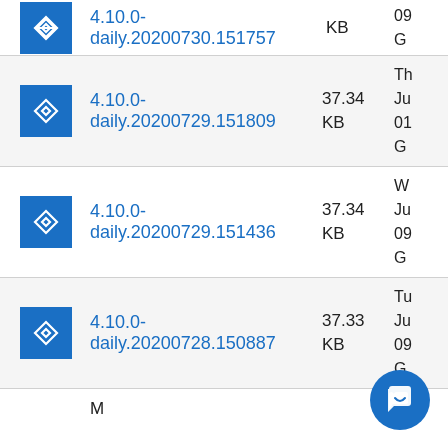4.10.0-daily.20200730.151757  KB  09 Gl
4.10.0-daily.20200729.151809  37.34 KB  Ju 01 Gl
4.10.0-daily.20200729.151436  37.34 KB  Ju 09 Gl
4.10.0-daily.20200728.150887  37.33 KB  Ju 09 Gl
M